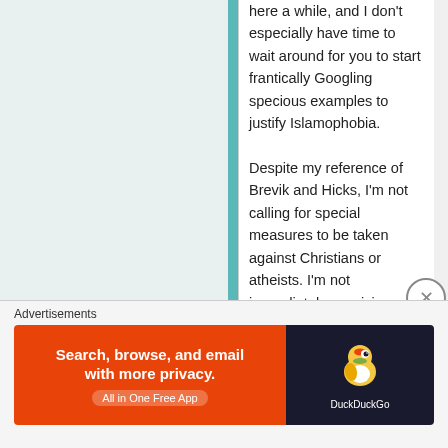here a while, and I don't especially have time to wait around for you to start frantically Googling specious examples to justify Islamophobia.
Despite my reference of Brevik and Hicks, I'm not calling for special measures to be taken against Christians or atheists. I'm not immediately suspicious of them. I'm also not
Advertisements
[Figure (infographic): DuckDuckGo advertisement banner. Left orange section reads 'Search, browse, and email with more privacy. All in One Free App'. Right dark section shows DuckDuckGo duck logo and brand name.]